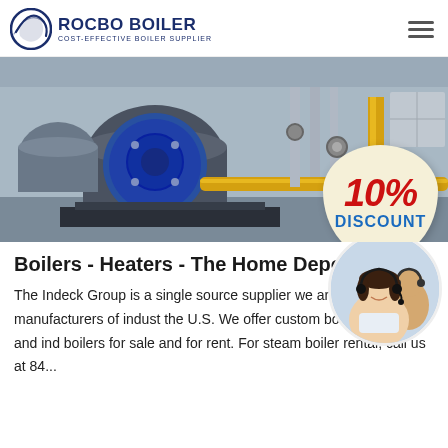ROCBO BOILER — COST-EFFECTIVE BOILER SUPPLIER
[Figure (photo): Industrial boiler room with large blue cylindrical boiler units, yellow gas pipes, and plumbing equipment. A promotional badge showing '10% DISCOUNT' is overlaid on the lower right of the image.]
Boilers - Heaters - The Home Depot
[Figure (photo): Circular cropped photo of a smiling woman wearing a headset, with another person with a headset visible in the background — a customer service agent image.]
The Indeck Group is a single source supplier we are one of the top manufacturers of indust the U.S. We offer custom boiler systems and ind boilers for sale and for rent. For steam boiler rental, call us at 84...